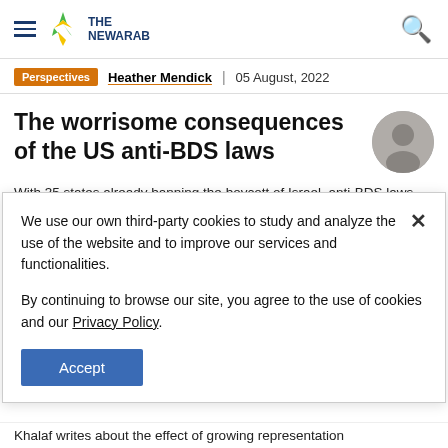THE NEWARAB
Perspectives | Heather Mendick | 05 August, 2022
The worrisome consequences of the US anti-BDS laws
With 35 states already banning the boycott of Israel, anti-BDS laws are now being used as templates for
We use our own third-party cookies to study and analyze the use of the website and to improve our services and functionalities.

By continuing to browse our site, you agree to the use of cookies and our Privacy Policy.
Khalaf writes about the effect of growing representation